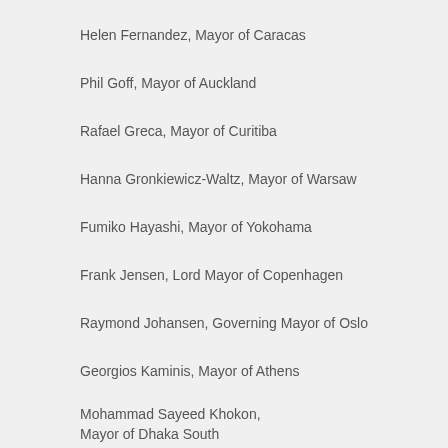Helen Fernandez, Mayor of Caracas
Phil Goff, Mayor of Auckland
Rafael Greca, Mayor of Curitiba
Hanna Gronkiewicz-Waltz, Mayor of Warsaw
Fumiko Hayashi, Mayor of Yokohama
Frank Jensen, Lord Mayor of Copenhagen
Raymond Johansen, Governing Mayor of Oslo
Georgios Kaminis, Mayor of Athens
Mohammad Sayeed Khokon, Mayor of Dhaka South